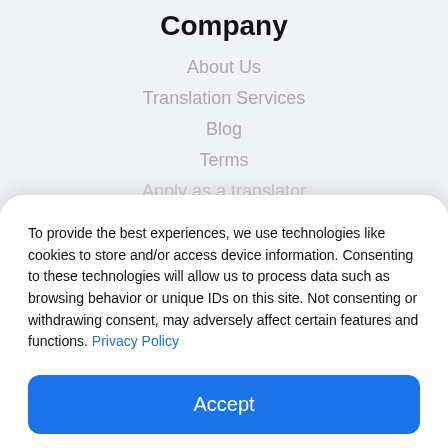Company
About Us
Translation Services
Blog
Terms
Apply as a translator
To provide the best experiences, we use technologies like cookies to store and/or access device information. Consenting to these technologies will allow us to process data such as browsing behavior or unique IDs on this site. Not consenting or withdrawing consent, may adversely affect certain features and functions. Privacy Policy
Accept
View preferences